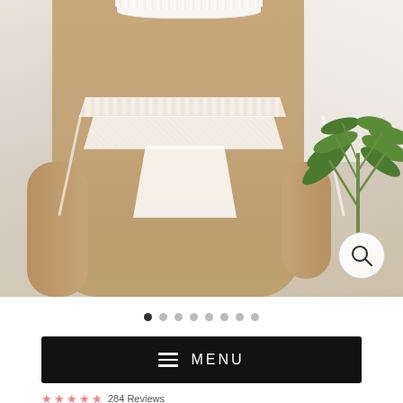[Figure (photo): Product photo of a woman wearing white lace lingerie set (bralette and high-cut thong/brief) against a white background with a green plant on the right side. A zoom/magnify icon is visible in the bottom-right corner of the image.]
[Figure (other): Carousel dot navigation indicator showing 8 dots, the first dot filled/active (dark) and the remaining 7 unfilled (light grey).]
MENU
284 Reviews